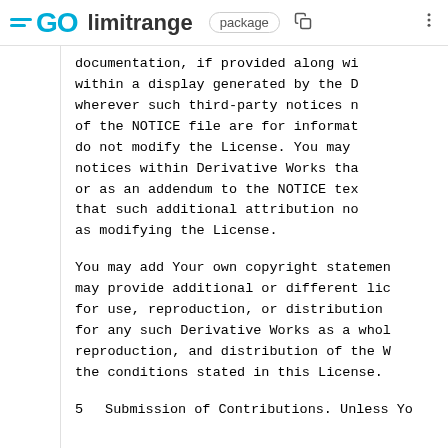GO limitrange package
documentation, if provided along wi
within a display generated by the D
wherever such third-party notices n
of the NOTICE file are for informat
do not modify the License. You may
notices within Derivative Works tha
or as an addendum to the NOTICE tex
that such additional attribution no
as modifying the License.
You may add Your own copyright statemen
may provide additional or different lic
for use, reproduction, or distribution
for any such Derivative Works as a who
reproduction, and distribution of the W
the conditions stated in this License.
5  Submission of Contributions. Unless Yo